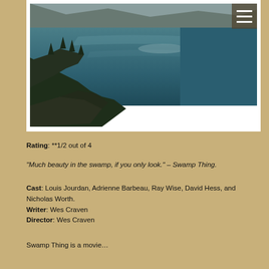[Figure (photo): Aerial or elevated view of a large lake or reservoir with forested cliffs in the foreground and misty mountains in the background. Teal-blue water dominates the scene.]
Rating: **1/2 out of 4
“Much beauty in the swamp, if you only look.” – Swamp Thing.
Cast: Louis Jourdan, Adrienne Barbeau, Ray Wise, David Hess, and Nicholas Worth.
Writer: Wes Craven
Director: Wes Craven
Swamp Thing is a movie...